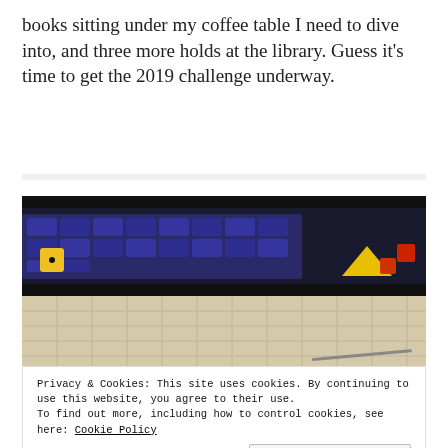books sitting under my coffee table I need to dive into, and three more holds at the library. Guess it's time to get the 2019 challenge underway.
[Figure (photo): Close-up photo of a board game in progress, showing a game board with hex/square tiles, yellow dice, red dice, and a yellow triangular token. The lower half shows beige/tan grid-patterned game map tiles.]
Privacy & Cookies: This site uses cookies. By continuing to use this website, you agree to their use. To find out more, including how to control cookies, see here: Cookie Policy
Close and accept
[Figure (photo): Partial view of another photo at the bottom showing green and orange objects on a dark background.]